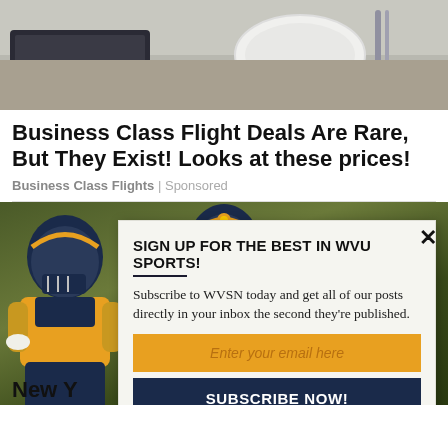[Figure (photo): Photo of a place setting with plates and silverware on a dark surface, partially visible laptop]
Business Class Flight Deals Are Rare, But They Exist! Looks at these prices!
Business Class Flights | Sponsored
[Figure (photo): Photo of football player in yellow and blue WVU uniform on green field background, with a modal popup overlay]
SIGN UP FOR THE BEST IN WVU SPORTS!
Subscribe to WVSN today and get all of our posts directly in your inbox the second they're published.
Enter your email here
SUBSCRIBE NOW!
We respect your privacy and will never sell your info
New Y